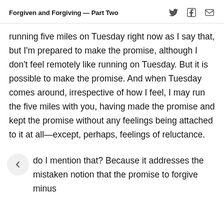Forgiven and Forgiving — Part Two
running five miles on Tuesday right now as I say that, but I'm prepared to make the promise, although I don't feel remotely like running on Tuesday. But it is possible to make the promise. And when Tuesday comes around, irrespective of how I feel, I may run the five miles with you, having made the promise and kept the promise without any feelings being attached to it at all—except, perhaps, feelings of reluctance.
do I mention that? Because it addresses the mistaken notion that the promise to forgive minus